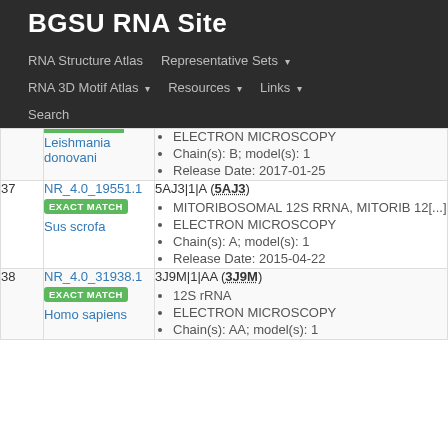BGSU RNA Site
RNA Structure Atlas | Representative Sets ▾ | RNA 3D Motif Atlas ▾ | Resources ▾ | Links ▾ | Search
| # | ID | Info |
| --- | --- | --- |
|  | Leishmania donovani | ELECTRON MICROSCOPY | Chain(s): B; model(s): 1 | Release Date: 2017-01-25 |
| 37 | NR_4.0_19551.1 EXACT MATCH Sus scrofa | 5AJ3|1|A (5AJ3) | MITORIBOSOMAL 12S RRNA, MITORIB 12[...] | ELECTRON MICROSCOPY | Chain(s): A; model(s): 1 | Release Date: 2015-04-22 |
| 38 | NR_4.0_31938.1 EXACT MATCH Homo sapiens | 3J9M|1|AA (3J9M) | 12S rRNA | ELECTRON MICROSCOPY | Chain(s): AA; model(s): 1 |